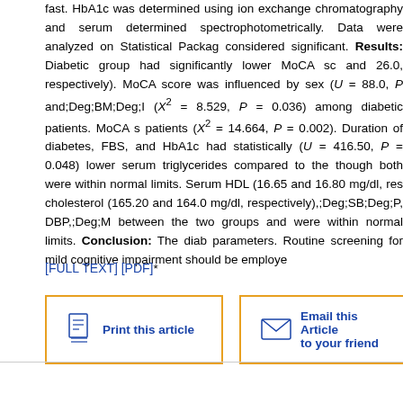fast. HbA1c was determined using ion exchange chromatography and serum determined spectrophotometrically. Data were analyzed on Statistical Package considered significant. Results: Diabetic group had significantly lower MoCA sc and 26.0, respectively). MoCA score was influenced by sex (U = 88.0, P and;Deg;BM;Deg;I (X2 = 8.529, P = 0.036) among diabetic patients. MoCA s patients (X2 = 14.664, P = 0.002). Duration of diabetes, FBS, and HbA1c had statistically (U = 416.50, P = 0.048) lower serum triglycerides compared to the though both were within normal limits. Serum HDL (16.65 and 16.80 mg/dl, res cholesterol (165.20 and 164.0 mg/dl, respectively),;Deg;SB;Deg;P, DBP,;Deg;M between the two groups and were within normal limits. Conclusion: The diab parameters. Routine screening for mild cognitive impairment should be employe
[FULL TEXT] [PDF]*
Print this article
Email this Article to your friend